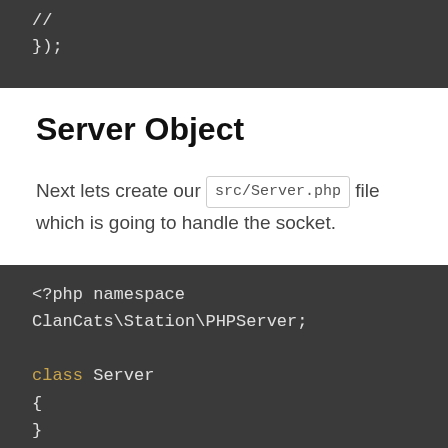[Figure (screenshot): Code block showing end of previous code: // and });]
Server Object
Next lets create our src/Server.php file which is going to handle the socket.
[Figure (screenshot): PHP code block: <?php namespace ClanCats\Station\PHPServer; class Server { }]